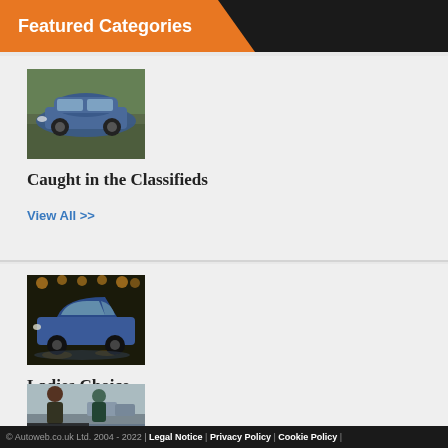Featured Categories
[Figure (photo): Blue sedan car parked on a road, viewed from front-left angle]
Caught in the Classifieds
View All >>
[Figure (photo): Blue hatchback car in a showroom or lit indoor setting at night]
Ladies Choice
View All >>
[Figure (photo): Person standing near cars outdoors, with Expand label overlay]
© Autoweb.co.uk Ltd. 2004 - 2022 | Legal Notice | Privacy Policy | Cookie Policy |